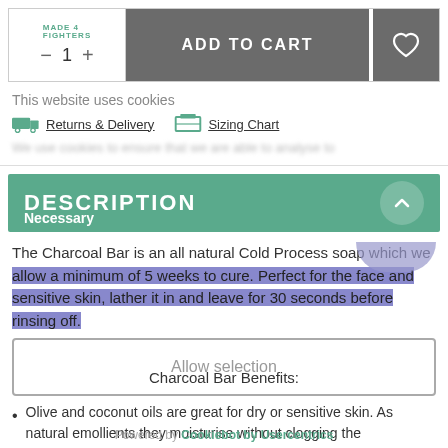[Figure (screenshot): E-commerce product page screenshot showing Made4Fighters logo, quantity selector (minus, 1, plus), ADD TO CART button in dark grey, and heart/wishlist icon button.]
This website uses cookies
Returns & Delivery   Sizing Chart
We use ... (blurred cookie policy text)
DESCRIPTION
The Charcoal Bar is an all natural Cold Process soap which we allow a minimum of 5 weeks to cure. Perfect for the face and sensitive skin, lather it in and leave for 30 seconds before rinsing off.
Allow selection
Charcoal Bar Benefits:
Olive and coconut oils are great for dry or sensitive skin. As natural emollients they moisturise without clogging the
Powered by Cookiebot by Usercentrics